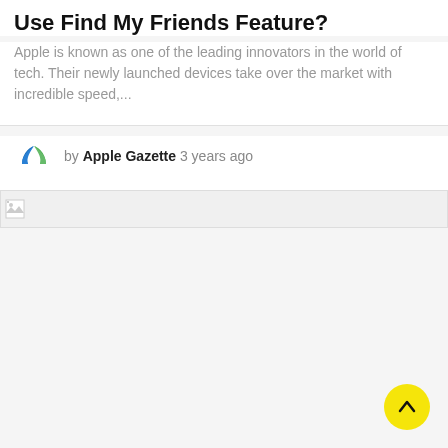Use Find My Friends Feature?
Apple is known as one of the leading innovators in the world of tech. Their newly launched devices take over the market with incredible speed,...
by Apple Gazette 3 years ago
[Figure (photo): Broken image placeholder for an article image]